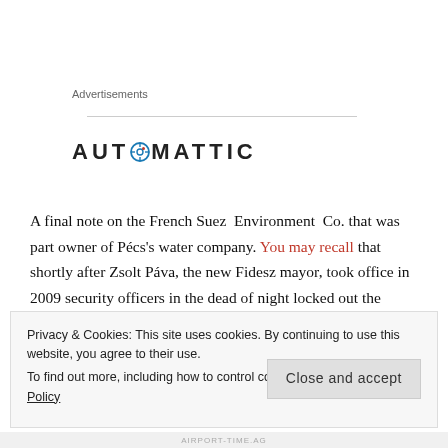Advertisements
[Figure (logo): Automattic logo in bold letters with a compass/target icon replacing the letter O]
A final note on the French Suez Environment Co. that was part owner of Pécs's water company. You may recall that shortly after Zsolt Páva, the new Fidesz mayor, took office in 2009 security officers in the dead of night locked out the employees of Suez and the city forcibly took over the company. The head of the company couldn't
Privacy & Cookies: This site uses cookies. By continuing to use this website, you agree to their use.
To find out more, including how to control cookies, see here: Cookie Policy
Close and accept
AIRPORT-TIME.AG